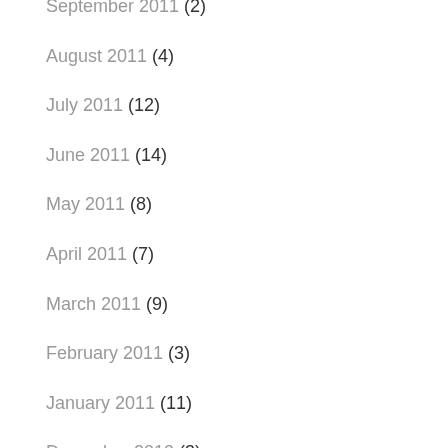September 2011 (2)
August 2011 (4)
July 2011 (12)
June 2011 (14)
May 2011 (8)
April 2011 (7)
March 2011 (9)
February 2011 (3)
January 2011 (11)
December 2010 (3)
November 2010 (12)